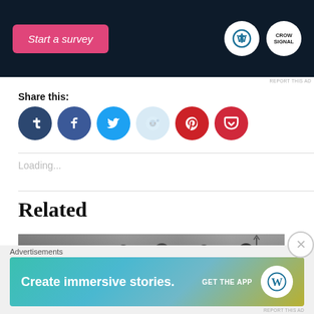[Figure (screenshot): Top dark banner ad with pink 'Start a survey' button and WordPress/Survey logos]
REPORT THIS AD
Share this:
[Figure (infographic): Social share icons: Tumblr, Facebook, Twitter, Reddit, Pinterest, Pocket]
Loading...
Related
[Figure (photo): Black and white photo of superhero group (Justice League characters)]
Advertisements
[Figure (screenshot): Bottom ad banner with gradient background: 'Create immersive stories. GET THE APP' with WordPress logo]